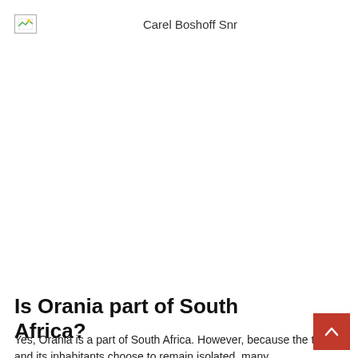Carel Boshoff Snr
[Figure (photo): Large image placeholder (broken/loading image) of Carel Boshoff Snr]
Is Orania part of South Africa?
Yes, Orania is a part of South Africa. However, because the town and its inhabitants choose to remain isolated, many...